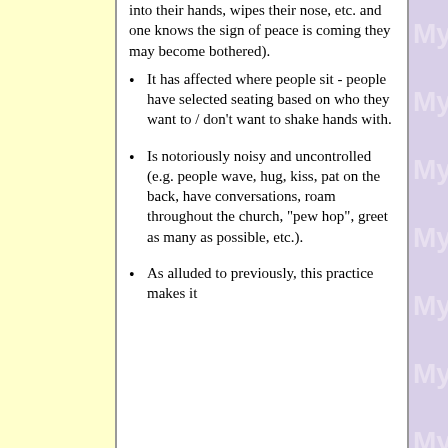into their hands, wipes their nose, etc. and one knows the sign of peace is coming they may become bothered).
It has affected where people sit - people have selected seating based on who they want to / don't want to shake hands with.
Is notoriously noisy and uncontrolled (e.g. people wave, hug, kiss, pat on the back, have conversations, roam throughout the church, "pew hop", greet as many as possible, etc.).
As alluded to previously, this practice makes it